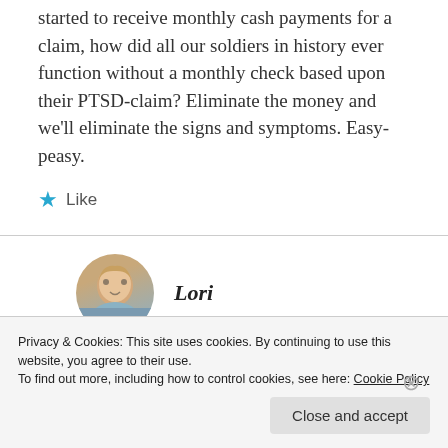started to receive monthly cash payments for a claim, how did all our soldiers in history ever function without a monthly check based upon their PTSD-claim? Eliminate the money and we'll eliminate the signs and symptoms. Easy-peasy.
★ Like
Lori
Privacy & Cookies: This site uses cookies. By continuing to use this website, you agree to their use.
To find out more, including how to control cookies, see here: Cookie Policy
Close and accept